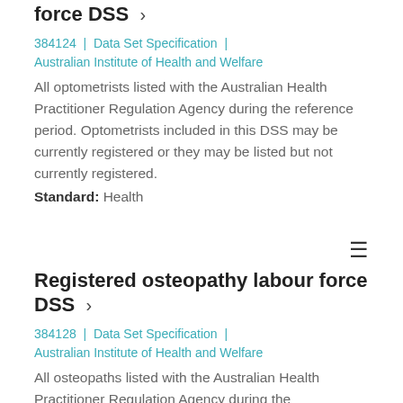force DSS ›
384124 | Data Set Specification | Australian Institute of Health and Welfare
All optometrists listed with the Australian Health Practitioner Regulation Agency during the reference period. Optometrists included in this DSS may be currently registered or they may be listed but not currently registered.
Standard: Health
Registered osteopathy labour force DSS ›
384128 | Data Set Specification | Australian Institute of Health and Welfare
All osteopaths listed with the Australian Health Practitioner Regulation Agency during the